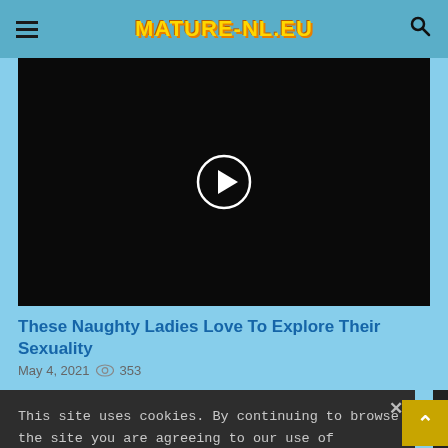MATURE-NL.EU
[Figure (screenshot): Black video player area with a circular play button (white circle with a right-pointing triangle) in the center]
These Naughty Ladies Love To Explore Their Sexuality
May 4, 2021   353
This site uses cookies. By continuing to browse the site you are agreeing to our use of cookies.